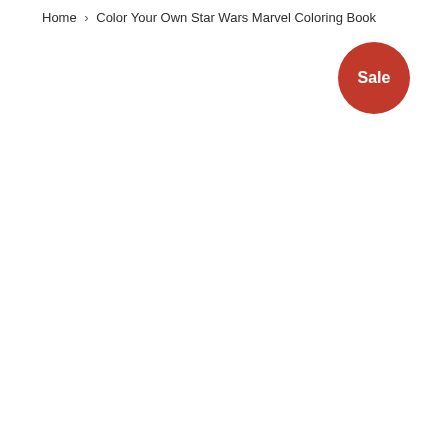Home › Color Your Own Star Wars Marvel Coloring Book
[Figure (other): Red circular sale badge with white text reading 'Sale']